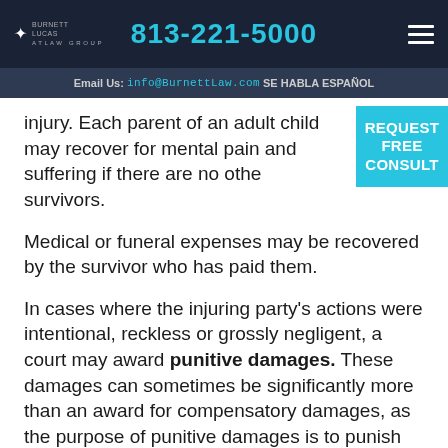813-221-5000
Email Us: info@BurnettLaw.com SE HABLA ESPAÑOL
injury. Each parent of an adult child may recover for mental pain and suffering if there are no other survivors.
Medical or funeral expenses may be recovered by the survivor who has paid them.
In cases where the injuring party's actions were intentional, reckless or grossly negligent, a court may award punitive damages. These damages can sometimes be significantly more than an award for compensatory damages, as the purpose of punitive damages is to punish the tortfeasor (the offending party) and/or discourage similar behavior in the